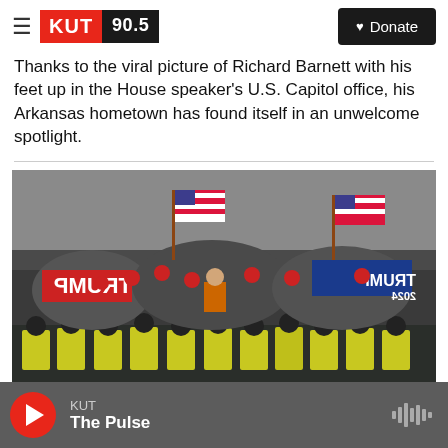KUT 90.5 | Donate
Thanks to the viral picture of Richard Barnett with his feet up in the House speaker's U.S. Capitol office, his Arkansas hometown has found itself in an unwelcome spotlight.
[Figure (photo): Large crowd of protesters waving American flags and Trump banners confronting a line of police officers in riot gear outside the U.S. Capitol.]
KUT | The Pulse